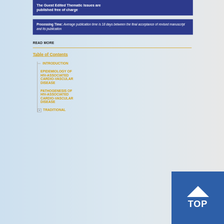The Guest Edited Thematic Issues are published free of charge
Processing Time: Average publication time is 18 days between the final acceptance of revised manuscript and its publication
READ MORE
Table of Contents
INTRODUCTION
EPIDEMIOLOGY OF HIV-ASSOCIATED CARDIO-VASCULAR DISEASE
PATHOGENESIS OF HIV-ASSOCIATED CARDIO-VASCULAR DISEASE
TRADITIONAL